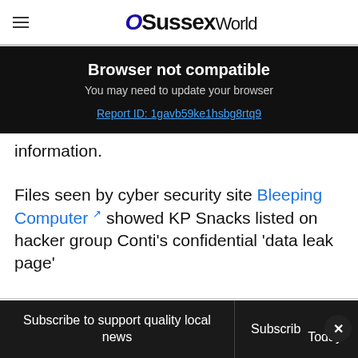OSussex World
Browser not compatible
You may need to update your browser
Report ID: 1gavb59ke1hsbg8rtq9
information.
Files seen by cyber security site Bleeping Computer showed KP Snacks listed on hacker group Conti’s confidential ‘data leak page’
[Figure (other): McAlister's Deli advertisement banner: Pickup & To Go Available]
The site alleged that a number of KP Snacks d...
Subscribe to support quality local news | Subscribe Today